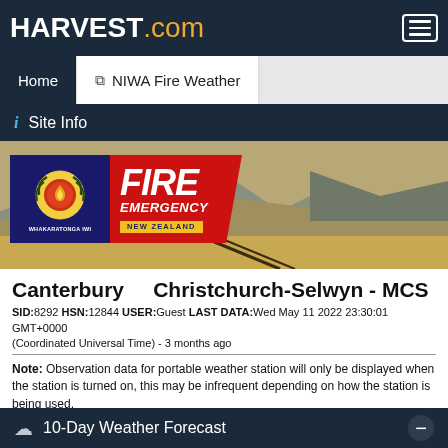HARVEST.com
Home  NIWA Fire Weather
i  Site Info
[Figure (photo): Fire Emergency New Zealand logo overlaid on a landscape photo of golden hills and mountains]
Canterbury    Christchurch-Selwyn - MCS
SID:8292 HSN:12844 USER:Guest LAST DATA:Wed May 11 2022 23:30:01 GMT+0000 (Coordinated Universal Time) - 3 months ago
Note: Observation data for portable weather station will only be displayed when the station is turned on, this may be infrequent depending on how the station is being used.
10-Day Weather Forecast